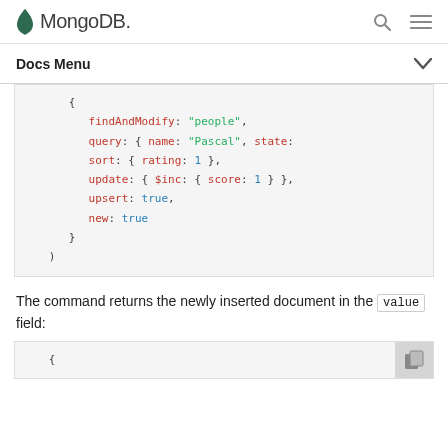MongoDB
Docs Menu
[Figure (screenshot): MongoDB documentation page showing a findAndModify command code block with syntax highlighting. Code: { findAndModify: "people", query: { name: "Pascal", state: sort: { rating: 1 }, update: { $inc: { score: 1 } }, upsert: true, new: true }  )]
The command returns the newly inserted document in the value field:
[Figure (screenshot): Partial code block showing opening brace { of a JSON/MongoDB document]